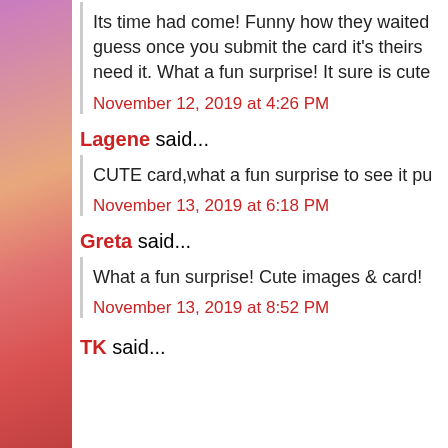Its time had come! Funny how they waited... guess once you submit the card it's theirs... need it. What a fun surprise! It sure is cute
November 12, 2019 at 4:26 PM
Lagene said...
CUTE card,what a fun surprise to see it pu
November 13, 2019 at 6:18 PM
Greta said...
What a fun surprise! Cute images & card!
November 13, 2019 at 8:52 PM
TK said...